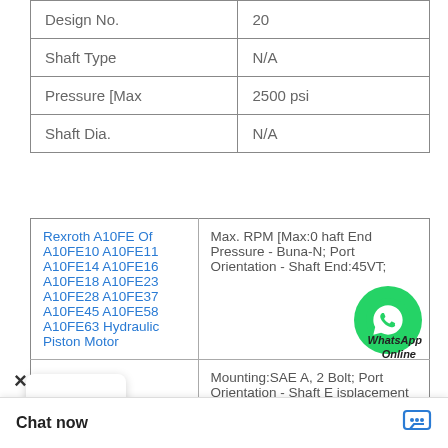| Property | Value |
| --- | --- |
| Design No. | 20 |
| Shaft Type | N/A |
| Pressure [Max | 2500 psi |
| Shaft Dia. | N/A |
| Product | Specifications |
| --- | --- |
| Rexroth A10FE Of A10FE10 A10FE11 A10FE14 A10FE16 A10FE18 A10FE23 A10FE28 A10FE37 A10FE45 A10FE58 A10FE63 Hydraulic Piston Motor | Max. RPM [Max:0 haft End Pressure - Buna-N; Port Orientation - Shaft End:45VT; |
|  | Mounting:SAE A, 2 Bolt; Port Orientation - Shaft End isplacement Shaft in/revolution):1; |